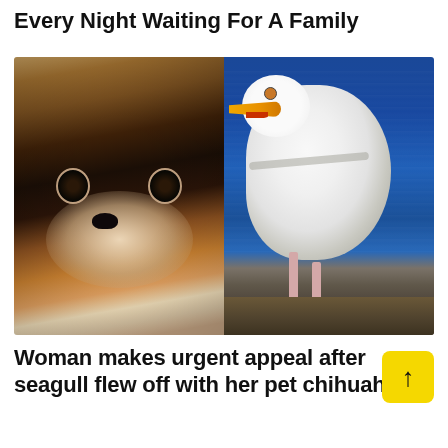Every Night Waiting For A Family
[Figure (photo): Side-by-side photos: left shows a close-up of a small chihuahua dog with large dark eyes and tan/brown fur; right shows a seagull standing on a surface with blue water in the background, the bird is white/grey with an orange-yellow beak and pink legs.]
Woman makes urgent appeal after seagull flew off with her pet chihuahua